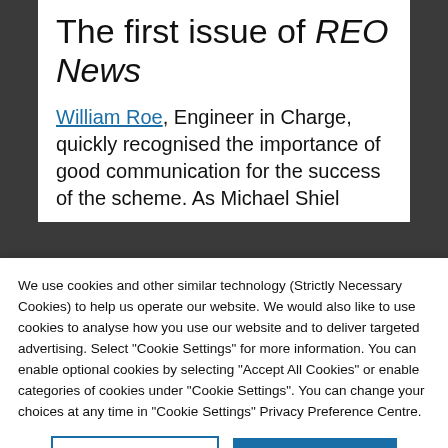The first issue of REO News
William Roe, Engineer in Charge, quickly recognised the importance of good communication for the success of the scheme. As Michael Shiel
We use cookies and other similar technology (Strictly Necessary Cookies) to help us operate our website. We would also like to use cookies to analyse how you use our website and to deliver targeted advertising. Select “Cookie Settings” for more information. You can enable optional cookies by selecting “Accept All Cookies” or enable categories of cookies under “Cookie Settings”. You can change your choices at any time in “Cookie Settings” Privacy Preference Centre.
Cookies Settings | Accept All